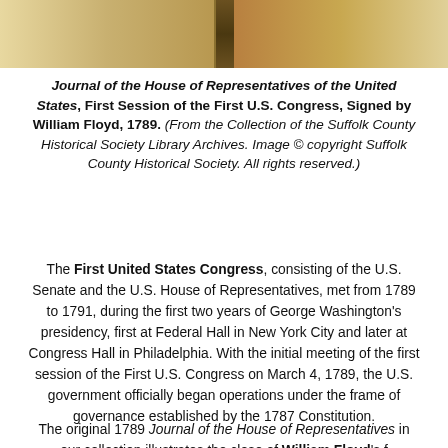[Figure (photo): Photograph of a historical book (Journal of the House of Representatives), showing the spine and cover pages, with aged yellowish-brown appearance.]
Journal of the House of Representatives of the United States, First Session of the First U.S. Congress, Signed by William Floyd, 1789. (From the Collection of the Suffolk County Historical Society Library Archives. Image © copyright Suffolk County Historical Society. All rights reserved.)
The First United States Congress, consisting of the U.S. Senate and the U.S. House of Representatives, met from 1789 to 1791, during the first two years of George Washington's presidency, first at Federal Hall in New York City and later at Congress Hall in Philadelphia. With the initial meeting of the first session of the First U.S. Congress on March 4, 1789, the U.S. government officially began operations under the frame of governance established by the 1787 Constitution.
The original 1789 Journal of the House of Representatives in our collection illustrates the close of William Floyd's f